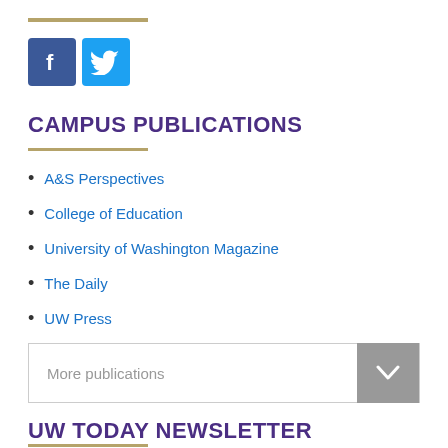[Figure (other): Facebook and Twitter social media icon buttons]
CAMPUS PUBLICATIONS
A&S Perspectives
College of Education
University of Washington Magazine
The Daily
UW Press
[Figure (other): More publications dropdown selector button]
UW TODAY NEWSLETTER